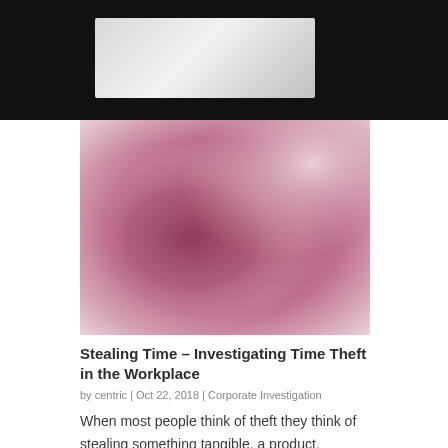[Figure (illustration): Abstract blurred pink and mauve gradient image used as article hero image]
Stealing Time – Investigating Time Theft in the Workplace
by centric | Oct 22, 2018 | Corporate Investigation
When most people think of theft they think of stealing something tangible, a product,